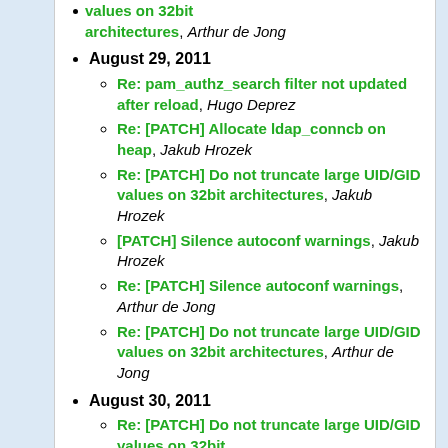values on 32bit architectures, Arthur de Jong
August 29, 2011
Re: pam_authz_search filter not updated after reload, Hugo Deprez
Re: [PATCH] Allocate ldap_conncb on heap, Jakub Hrozek
Re: [PATCH] Do not truncate large UID/GID values on 32bit architectures, Jakub Hrozek
[PATCH] Silence autoconf warnings, Jakub Hrozek
Re: [PATCH] Silence autoconf warnings, Arthur de Jong
Re: [PATCH] Do not truncate large UID/GID values on 32bit architectures, Arthur de Jong
August 30, 2011
Re: [PATCH] Do not truncate large UID/GID values on 32bit